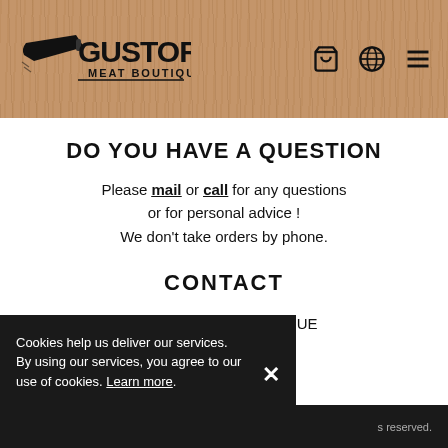[Figure (logo): Gustor Meat Boutique logo with cleaver graphic and navigation icons (cart, globe, hamburger menu)]
DO YOU HAVE A QUESTION
Please mail or call for any questions or for personal advice ! We don't take orders by phone.
CONTACT
GUSTOR MEATBOUTIQUE
Zeelaan 205
8670 Koksijde
+32 473 60 06 22
info@gustor.be
Cookies help us deliver our services. By using our services, you agree to our use of cookies. Learn more.
s reserved.